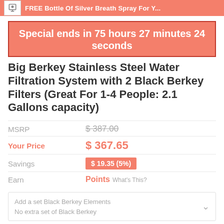FREE Bottle Of Silver Breath Spray For Y...
Special ends in 75 hours 27 minutes 24 seconds
Big Berkey Stainless Steel Water Filtration System with 2 Black Berkey Filters (Great For 1-4 People: 2.1 Gallons capacity)
| Label | Value |
| --- | --- |
| MSRP | $ 387.00 |
| Your Price | $ 367.65 |
| Savings | $ 19.35 (5%) |
| Earn | Points What's This? |
Add a set Black Berkey Elements
No extra set of Black Berkey